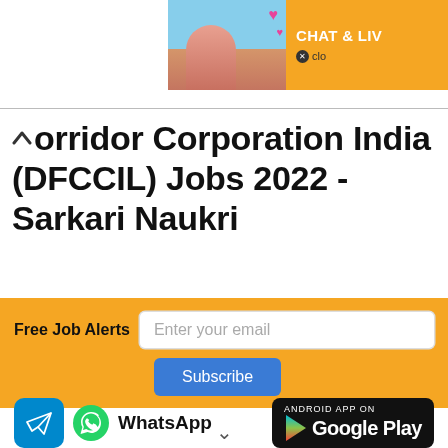[Figure (photo): Advertisement banner showing a person on a beach with text 'CHAT & LIV' on an orange background, partially cropped at top right]
Corridor Corporation India (DFCCIL) Jobs 2022 - Sarkari Naukri
Free Job Alerts  Enter your email  Subscribe
[Figure (logo): Telegram icon (blue square with paper plane), WhatsApp icon with 'WhatsApp' label, and Google Play store badge on black background]